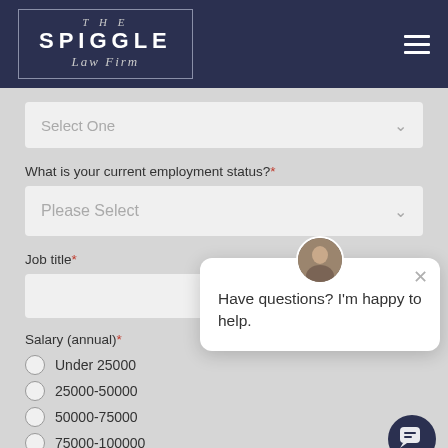[Figure (logo): The Spiggle Law Firm logo in white on dark navy background with border box]
Select One
What is your current employment status?*
Please Select
Job title*
Salary (annual)*
Under 25000
25000-50000
50000-75000
75000-100000
Have questions? I'm happy to help.